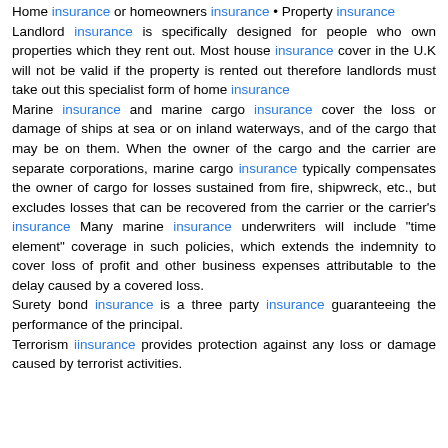Home insurance or homeowners insurance • Property insurance
Landlord insurance is specifically designed for people who own properties which they rent out. Most house insurance cover in the U.K will not be valid if the property is rented out therefore landlords must take out this specialist form of home insurance
Marine insurance and marine cargo insurance cover the loss or damage of ships at sea or on inland waterways, and of the cargo that may be on them. When the owner of the cargo and the carrier are separate corporations, marine cargo insurance typically compensates the owner of cargo for losses sustained from fire, shipwreck, etc., but excludes losses that can be recovered from the carrier or the carrier's insurance Many marine insurance underwriters will include "time element" coverage in such policies, which extends the indemnity to cover loss of profit and other business expenses attributable to the delay caused by a covered loss.
Surety bond insurance is a three party insurance guaranteeing the performance of the principal.
Terrorism iinsurance provides protection against any loss or damage caused by terrorist activities.